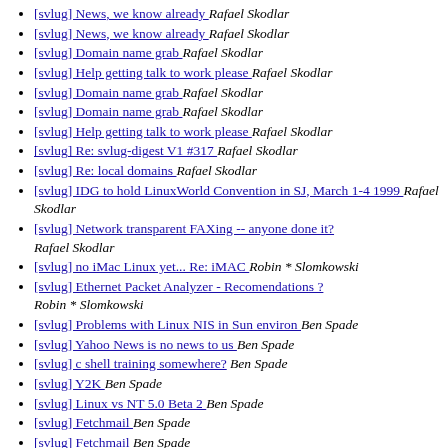[svlug] News, we know already  Rafael Skodlar
[svlug] News, we know already  Rafael Skodlar
[svlug] Domain name grab  Rafael Skodlar
[svlug] Help getting talk to work please  Rafael Skodlar
[svlug] Domain name grab  Rafael Skodlar
[svlug] Domain name grab  Rafael Skodlar
[svlug] Help getting talk to work please  Rafael Skodlar
[svlug] Re: svlug-digest V1 #317  Rafael Skodlar
[svlug] Re: local domains  Rafael Skodlar
[svlug] IDG to hold LinuxWorld Convention in SJ, March 1-4 1999  Rafael Skodlar
[svlug] Network transparent FAXing -- anyone done it? Rafael Skodlar
[svlug] no iMac Linux yet... Re: iMAC  Robin * Slomkowski
[svlug] Ethernet Packet Analyzer - Recomendations ? Robin * Slomkowski
[svlug] Problems with Linux NIS in Sun environ  Ben Spade
[svlug] Yahoo News is no news to us  Ben Spade
[svlug] c shell training somewhere?  Ben Spade
[svlug] Y2K  Ben Spade
[svlug] Linux vs NT 5.0 Beta 2  Ben Spade
[svlug] Fetchmail  Ben Spade
[svlug] Fetchmail  Ben Spade